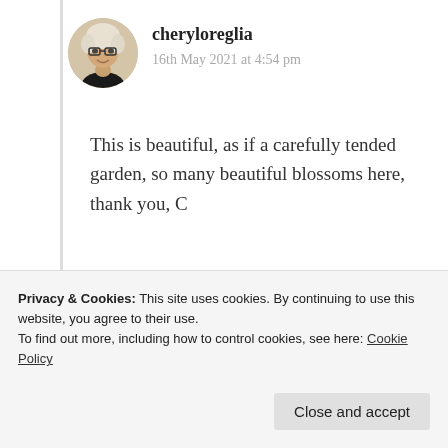[Figure (photo): Circular avatar photo of a woman with white/gray hair and glasses, older female, headshot]
cheryloreglia
16th May 2021 at 4:54 pm
This is beautiful, as if a carefully tended garden, so many beautiful blossoms here, thank you, C
★ Like
Log in to Reply
Privacy & Cookies: This site uses cookies. By continuing to use this website, you agree to their use.
To find out more, including how to control cookies, see here: Cookie Policy
Close and accept